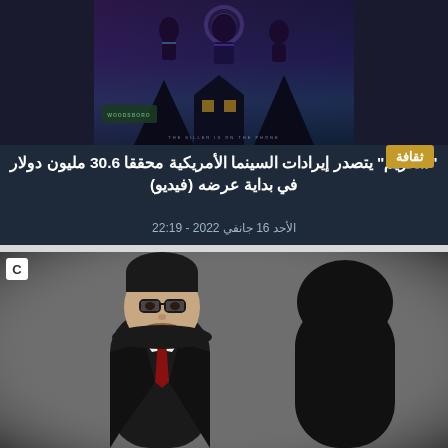[Figure (photo): Movie poster for Scream (2022) showing dark horror imagery with Woodsboro sign and ghostly figures in a blue-purple night scene]
"سكريم" يتصدر إيرادات السينما الأمريكية محققا 30.6 مليون دولار في بداية عرضه (فيديو)
الأحد 16 جانفي 2022 - 22:19
[Figure (screenshot): Video player screenshot showing animated/cartoon characters - a figure in dark suit on left with face visible, and a dark silhouette shape on right, on grey background. Small 'C' label in top-left corner.]